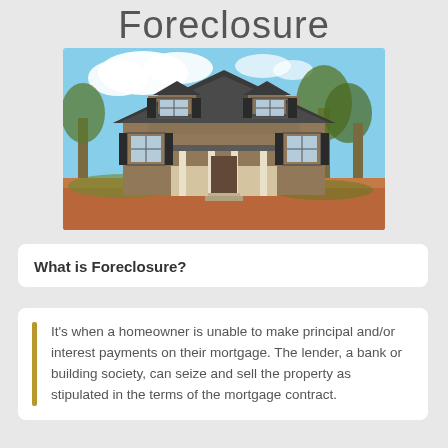Foreclosure
[Figure (photo): A two-story brick house with a front porch, dark shutters, and trees in the background, set on a red-dirt yard under a partly cloudy sky.]
What is Foreclosure?
It's when a homeowner is unable to make principal and/or interest payments on their mortgage. The lender, a bank or building society, can seize and sell the property as stipulated in the terms of the mortgage contract.